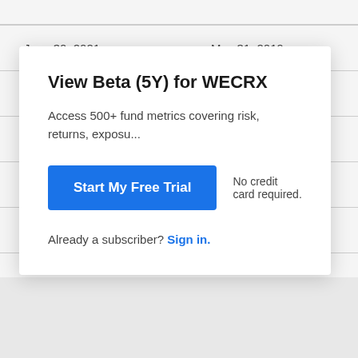| June 30, 2021 | -- | May 31, 2019 |
| May 31, 2021 | -- | April 30, 2019 |
| November 30, 2020 | -- | October 31, 201... |
| October 31, 2020 | -- | September 30, ... |
| September 30, 2020 | -- | August 31, 2018 |
| August 31, 2020 | -- | July 31, 2018 |
View Beta (5Y) for WECRX
Access 500+ fund metrics covering risk, returns, exposu...
Start My Free Trial
No credit card required.
Already a subscriber? Sign in.